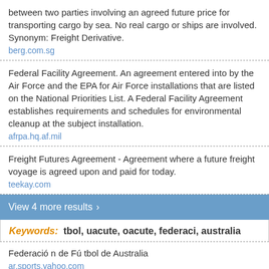between two parties involving an agreed future price for transporting cargo by sea. No real cargo or ships are involved. Synonym: Freight Derivative.
berg.com.sg
Federal Facility Agreement. An agreement entered into by the Air Force and the EPA for Air Force installations that are listed on the National Priorities List. A Federal Facility Agreement establishes requirements and schedules for environmental cleanup at the subject installation.
afrpa.hq.af.mil
Freight Futures Agreement - Agreement where a future freight voyage is agreed upon and paid for today.
teekay.com
View 4 more results ›
Keywords: tbol, uacute, oacute, federaci, australia
Federació n de Fú tbol de Australia
ar.sports.yahoo.com